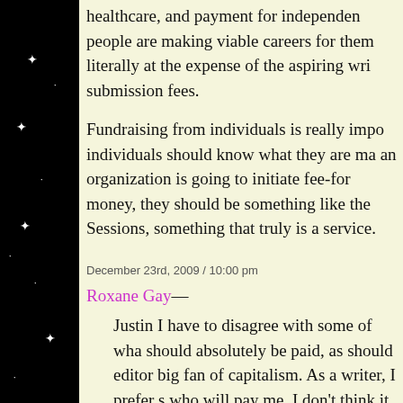healthcare, and payment for independent people are making viable careers for them literally at the expense of the aspiring wri submission fees.
Fundraising from individuals is really impor individuals should know what they are ma an organization is going to initiate fee-for money, they should be something like the Sessions, something that truly is a service.
December 23rd, 2009 / 10:00 pm
Roxane Gay—
Justin I have to disagree with some of wha should absolutely be paid, as should editor big fan of capitalism. As a writer, I prefer s who will pay me. I don't think it is anti-elit some issues surrounding Narrative and ho pay their contributors but to do so on the